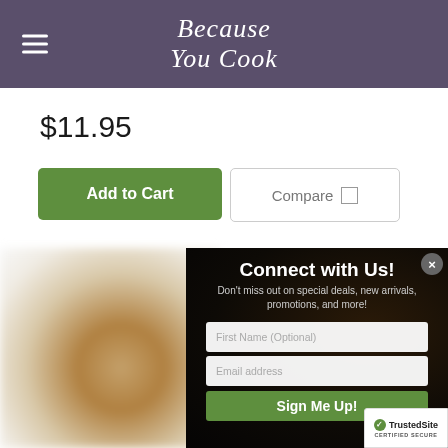Because You Cook
$11.95
Add to Cart
Compare
Connect with Us!
Don't miss out on special deals, new arrivals, promotions, and more!
First Name (Optional)
Email address
Sign Me Up!
TrustedSite CERTIFIED SECURE